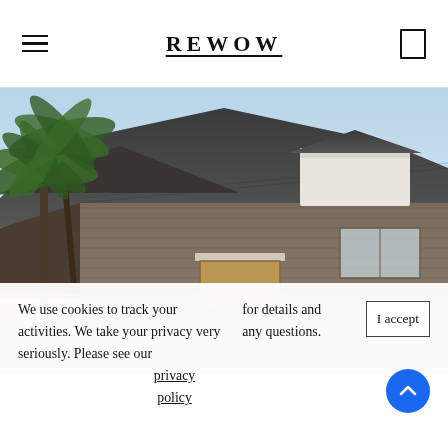REWOW
[Figure (photo): Exterior render of a modern single-story home with dark hip roof, taupe/brown horizontal siding, palm trees, illuminated entry, and blue sky.]
CRIMSON
Crimson Plan Info With dedicated spaces for both play and rest, the Crimson is a 1-story
We use cookies to track your activities. We take your privacy very seriously. Please see our privacy policy for details and any questions.
I accept